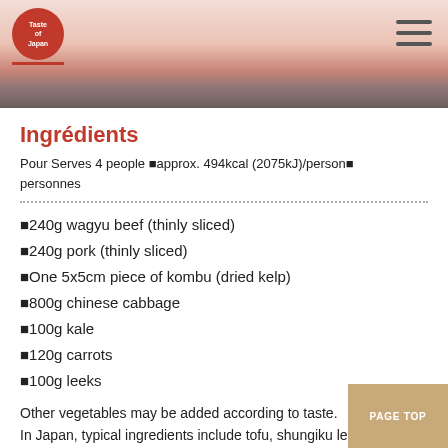Taste of Japan — navigation header with food image
Ingrédients
Pour Serves 4 people approx. 494kcal (2075kJ)/person personnes
■240g wagyu beef (thinly sliced)
■240g pork (thinly sliced)
■One 5x5cm piece of kombu (dried kelp)
■800g chinese cabbage
■100g kale
■120g carrots
■100g leeks
Other vegetables may be added according to taste. In Japan, typical ingredients include tofu, shungiku leaves, shiitake and shimeji mushrooms.